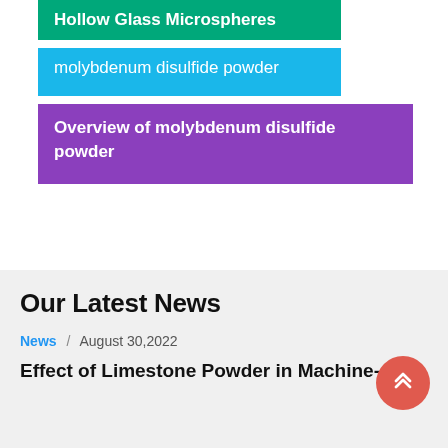Hollow Glass Microspheres
molybdenum disulfide powder
Overview of molybdenum disulfide powder
Our Latest News
News / August 30,2022
Effect of Limestone Powder in Machine-